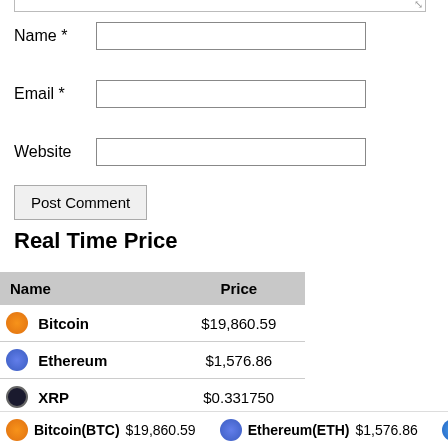Name *
Email *
Website
Post Comment
Real Time Price
| Name | Price |
| --- | --- |
| Bitcoin | $19,860.59 |
| Ethereum | $1,576.86 |
| XRP | $0.331750 |
| TRON | $0.063267 |
| Litecoin | $60.37 |
| Stellar | $0.105777 |
Bitcoin(BTC) $19,860.59   Ethereum(ETH) $1,576.86   Cardano(A...